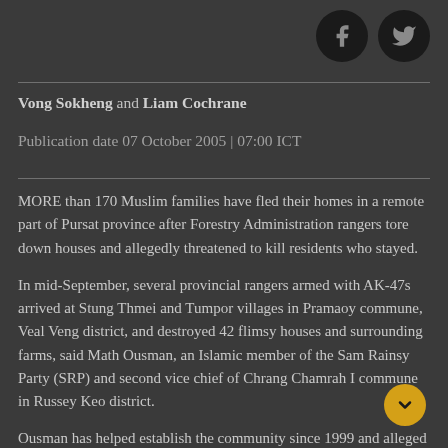[Figure (other): Facebook and Twitter social media icons (dark circular buttons) in top right corner]
Vong Sokheng and Liam Cochrane
Publication date 07 October 2005 | 07:00 ICT
MORE than 170 Muslim families have fled their homes in a remote part of Pursat province after Forestry Administration rangers tore down houses and allegedly threatened to kill residents who stayed.
In mid-September, several provincial rangers armed with AK-47s arrived at Stung Thmei and Tumpor villages in Pramaoy commune, Veal Veng district, and destroyed 42 flimsy houses and surrounding farms, said Math Ousman, an Islamic member of the Sam Rainsy Party (SRP) and second vice chief of Chrang Chamrah I commune in Russey Keo district.
Ousman has helped establish the community since 1999 and alleged the forced eviction was the result of political